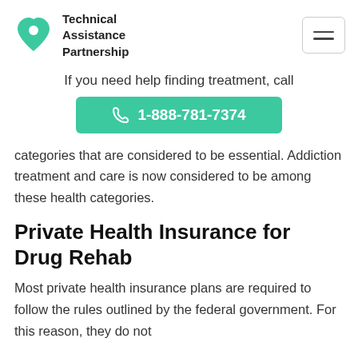Technical Assistance Partnership
If you need help finding treatment, call
1-888-781-7374
categories that are considered to be essential. Addiction treatment and care is now considered to be among these health categories.
Private Health Insurance for Drug Rehab
Most private health insurance plans are required to follow the rules outlined by the federal government. For this reason, they do not